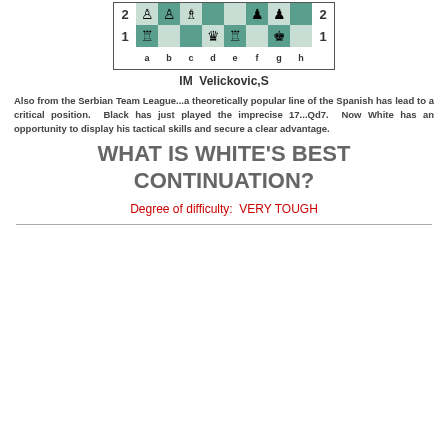[Figure (other): Chess board showing a position from the Serbian Team League. Rank 2 visible at top, rank 1 at bottom. Files a-h labeled. White pieces: rook on a1, pawn on b2, pawn on c2, bishop on c2 area, queen on d1, rook on e1, king on g1. Black pieces: pawn on f2, pawn on g2, queen on d1 area, king on g1 area.]
IM  Velickovic,S
Also from the Serbian Team League...a theoretically popular line of the Spanish has lead to a critical position.  Black has just played the imprecise 17...Qd7.  Now White has an opportunity to display his tactical skills and secure a clear advantage.
WHAT IS WHITE'S BEST CONTINUATION?
Degree of difficulty:  VERY TOUGH